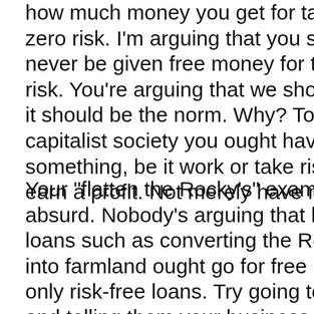how much money you get for taking zero risk. I'm arguing that you should never be given free money for taking no risk. You're arguing that we should, and it should be the norm. Why? To me, in a capitalist society you ought have to do something, be it work or take risk, to earn a profit. Not merely have money.
Your "flatten the Rocky's" example is absurd. Nobody's arguing that high-risk loans such as converting the Rocky's into farmland ought go for free interest, only risk-free loans. Try going to a bank and telling them your business